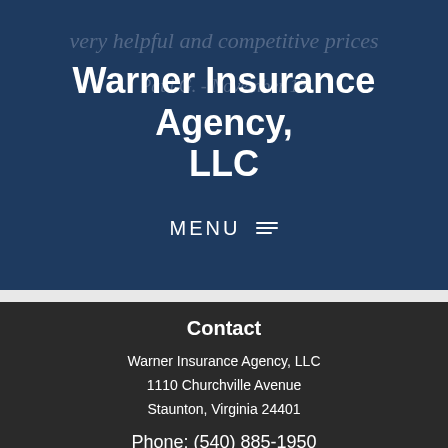Warner Insurance Agency, LLC
[Figure (other): MENU navigation bar with hamburger icon lines]
Contact
Warner Insurance Agency, LLC
1110 Churchville Avenue
Staunton, Virginia 24401
Phone: (540) 885-1950